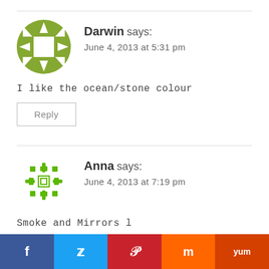[Figure (illustration): Green geometric avatar icon for user Darwin]
Darwin says:
June 4, 2013 at 5:31 pm
I like the ocean/stone colour
Reply
[Figure (illustration): Green snowflake/geometric avatar icon for user Anna]
Anna says:
June 4, 2013 at 7:19 pm
Smoke and Mirrors l
[Figure (infographic): Social sharing bar with Facebook, Twitter, Pinterest, Mix, and Yummly buttons]